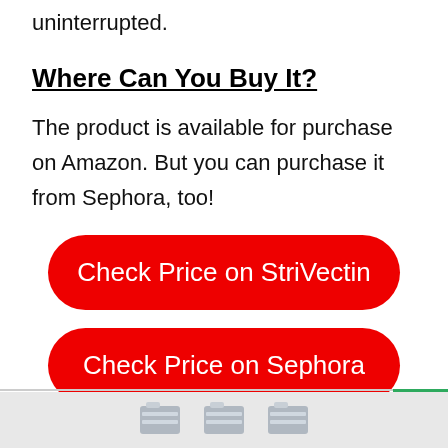uninterrupted.
Where Can You Buy It?
The product is available for purchase on Amazon. But you can purchase it from Sephora, too!
[Figure (other): Red button with text 'Check Price on StriVectin']
[Figure (other): Red button with text 'Check Price on Sephora']
[Figure (other): Bottom area with sale badge and product image icons]